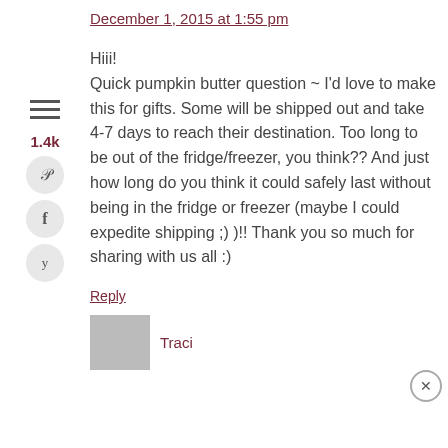December 1, 2015 at 1:55 pm
Hiii!
Quick pumpkin butter question ~ I'd love to make this for gifts. Some will be shipped out and take 4-7 days to reach their destination. Too long to be out of the fridge/freezer, you think?? And just how long do you think it could safely last without being in the fridge or freezer (maybe I could expedite shipping ;) )!! Thank you so much for sharing with us all :)
Reply
Traci